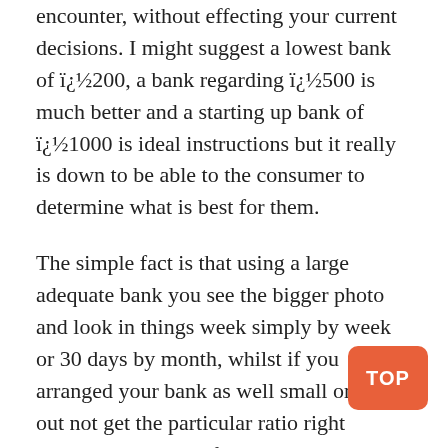encounter, without effecting your current decisions. I might suggest a lowest bank of ï¿½200, a bank regarding ï¿½500 is much better and a starting up bank of ï¿½1000 is ideal instructions but it really is down to be able to the consumer to determine what is best for them.
The simple fact is that using a large adequate bank you see the bigger photo and look in things week simply by week or 30 days by month, whilst if you arranged your bank as well small or carry out not get the particular ratio right between your size of your own bank and the particular level of your own stakes, suddenly every bet seems important and any losses seem to be massive blows to be able to you. This will be very dangerous in betting such as the even losing bet a person can carry on "tilt", similar to holdem poker when you drop a big hand, an individual stop making rational choices and start to